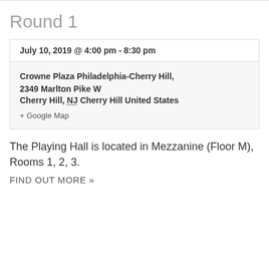Round 1
July 10, 2019 @ 4:00 pm - 8:30 pm
Crowne Plaza Philadelphia-Cherry Hill,
2349 Marlton Pike W
Cherry Hill, NJ Cherry Hill United States
+ Google Map
The Playing Hall is located in Mezzanine (Floor M), Rooms 1, 2, 3.
FIND OUT MORE »